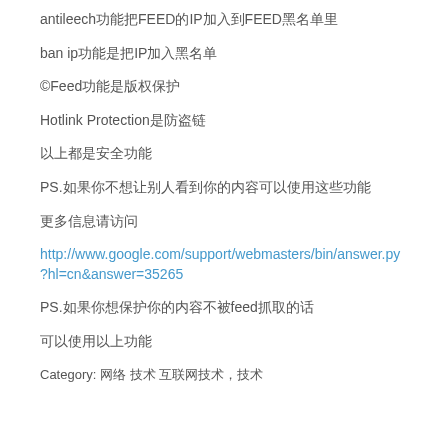antileech功能把FEED的IP加入到FEED黑名单里
ban ip功能是把IP加入黑名单
©Feed功能是版权保护
Hotlink Protection是防盗链
以上都是安全功能
PS.如果你不想让别人看到你的内容可以使用这些功能
更多信息请访问
http://www.google.com/support/webmasters/bin/answer.py?hl=cn&answer=35265
PS.如果你想保护你的内容不被feed抓取的话
可以使用以上功能
Category: 网络 技术 互联网技术，技术